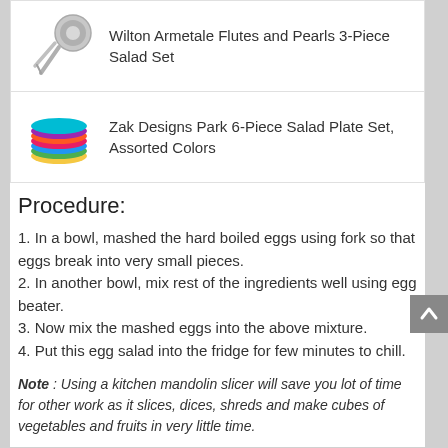[Figure (photo): Wilton Armetale Flutes and Pearls 3-Piece Salad Set product image showing silver serving spoons/bowl]
Wilton Armetale Flutes and Pearls 3-Piece Salad Set
[Figure (photo): Zak Designs Park 6-Piece Salad Plate Set, Assorted Colors product image showing stacked colorful plates]
Zak Designs Park 6-Piece Salad Plate Set, Assorted Colors
Procedure:
1. In a bowl, mashed the hard boiled eggs using fork so that eggs break into very small pieces.
2. In another bowl, mix rest of the ingredients well using egg beater.
3. Now mix the mashed eggs into the above mixture.
4. Put this egg salad into the fridge for few minutes to chill.
Note : Using a kitchen mandolin slicer will save you lot of time for other work as it slices, dices, shreds and make cubes of vegetables and fruits in very little time.